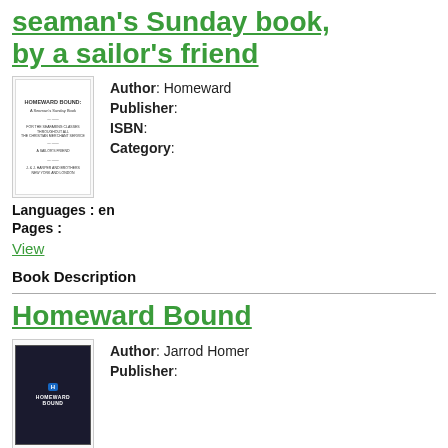seaman's Sunday book, by a sailor's friend
[Figure (illustration): Book cover thumbnail for seaman's Sunday book]
Author: Homeward
Publisher:
ISBN:
Category:
Languages: en
Pages:
View
Book Description
Homeward Bound
[Figure (illustration): Book cover thumbnail for Homeward Bound]
Author: Jarrod Homer
Publisher: